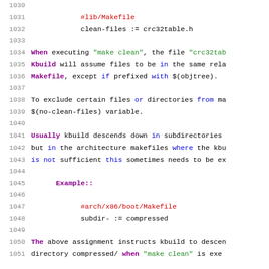1030-1051: Source code/documentation lines showing kbuild clean-files and no-clean-files variable usage, with Example showing #arch/x86/boot/Makefile subdir- := compressed